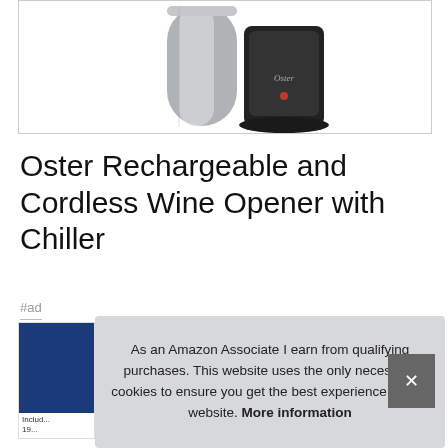[Figure (photo): Photo of Oster rechargeable cordless wine opener with chiller — a stainless steel cylindrical device next to a black charging base with Oster branding and a red indicator light]
Oster Rechargeable and Cordless Wine Opener with Chiller
#ad
[Figure (photo): Partially visible product card with blue background, showing partial text 'Includ' and '19...']
As an Amazon Associate I earn from qualifying purchases. This website uses the only necessary cookies to ensure you get the best experience on our website. More information